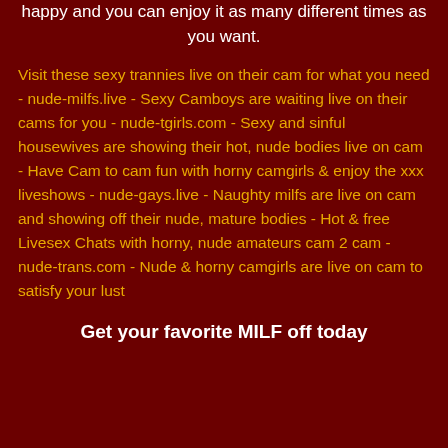happy and you can enjoy it as many different times as you want.
Visit these sexy trannies live on their cam for what you need - nude-milfs.live - Sexy Camboys are waiting live on their cams for you - nude-tgirls.com - Sexy and sinful housewives are showing their hot, nude bodies live on cam - Have Cam to cam fun with horny camgirls & enjoy the xxx liveshows - nude-gays.live - Naughty milfs are live on cam and showing off their nude, mature bodies - Hot & free Livesex Chats with horny, nude amateurs cam 2 cam - nude-trans.com - Nude & horny camgirls are live on cam to satisfy your lust
Get your favorite MILF off today